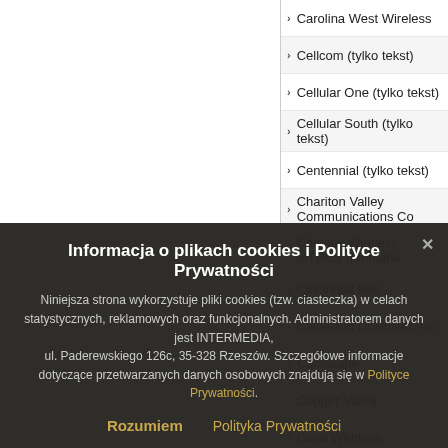Carolina West Wireless
Cellcom (tylko tekst)
Cellular One (tylko tekst)
Cellular South (tylko tekst)
Centennial (tylko tekst)
Chariton Valley Communications Co
Chinook Wireless MTPCS (Montana
Cincinnati Bell
Cleveland Unlimited, Inc
Comscape
Copper Valley
Coral Wireless
Dobson (tylko tekst)
Douglas Telecommunications
East Kentucky
ECIT (Cellular One of East Central I
Enid Wireless
Informacja o plikach cookies i Polityce Prywatności
Niniejsza strona wykorzystuje pliki cookies (tzw. ciasteczka) w celach statystycznych, reklamowych oraz funkcjonalnych. Administratorem danych jest INTERMEDIA, ul. Paderewskiego 126c, 35-328 Rzeszów. Szczegółowe informacje dotyczące przetwarzanych danych osobowych znajdują się w Polityce Prywatności.
Rozumiem | Polityka Prywatności